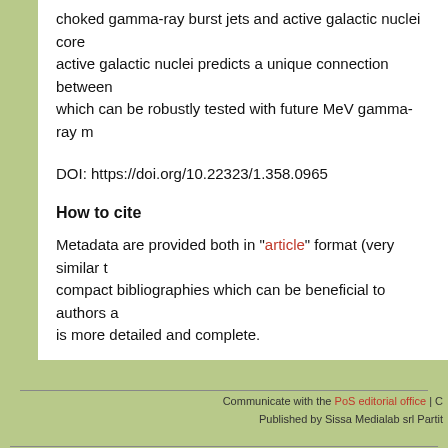choked gamma-ray burst jets and active galactic nuclei core active galactic nuclei predicts a unique connection between which can be robustly tested with future MeV gamma-ray m
DOI: https://doi.org/10.22323/1.358.0965
How to cite
Metadata are provided both in "article" format (very similar t compact bibliographies which can be beneficial to authors a is more detailed and complete.
Open Access
Copyright owned by the author(s) under the t NonCommercial-NoDerivatives 4.0 Internatio
Communicate with the PoS editorial office | C
Published by Sissa Medialab srl Partit